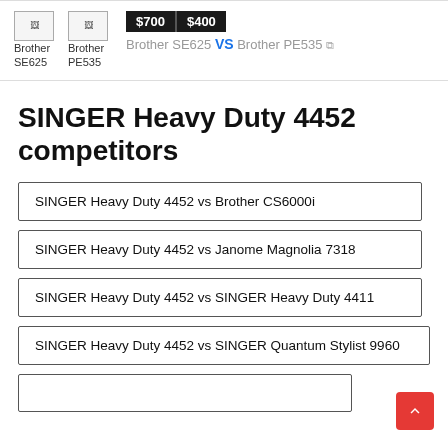Brother SE625  Brother PE535  $700  $400  Brother SE625 VS Brother PE535
SINGER Heavy Duty 4452 competitors
SINGER Heavy Duty 4452 vs Brother CS6000i
SINGER Heavy Duty 4452 vs Janome Magnolia 7318
SINGER Heavy Duty 4452 vs SINGER Heavy Duty 4411
SINGER Heavy Duty 4452 vs SINGER Quantum Stylist 9960